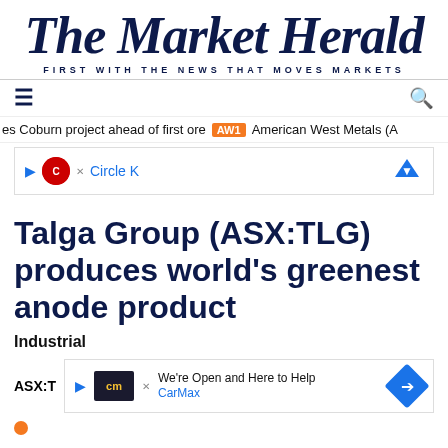The Market Herald — FIRST WITH THE NEWS THAT MOVES MARKETS
[Figure (screenshot): Navigation bar with hamburger menu icon on the left and search icon on the right]
es Coburn project ahead of first ore  AW1  American West Metals (A
[Figure (screenshot): Circle K advertisement banner with play button, Circle K logo, brand name in blue, and a blue down arrow on the right]
Talga Group (ASX:TLG) produces world's greenest anode product
Industrial
ASX:T
[Figure (screenshot): CarMax advertisement banner with play button, CarMax logo in dark background, 'We're Open and Here to Help' text, CarMax brand in blue, and a blue diamond arrow on the right]